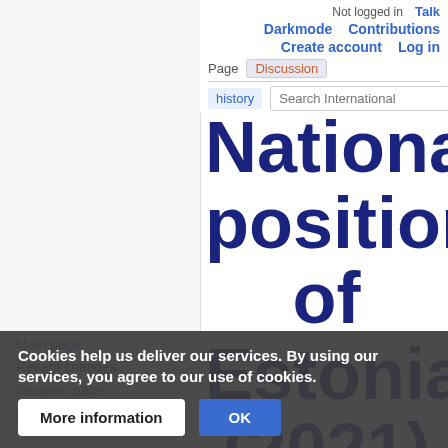Not logged in  Talk  Darkmode  Contributions  Create account  Log in
Page  Discussion  history  Search International
National position of Estonia (2021)
Main page
Recent changes
Random page
Help
Tools
What links here
Related changes
Special pages
Printable version
Page information
Get shortened URL
Cite this page
Cookies help us deliver our services. By using our services, you agree to our use of cookies.